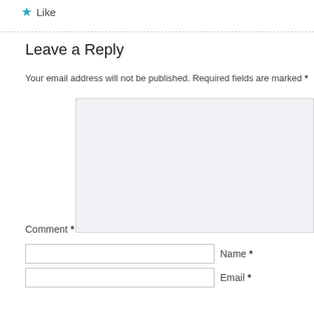★ Like
Leave a Reply
Your email address will not be published. Required fields are marked *
Comment *
Name *
Email *
Website
Post Comment
Notify me of new comments via email.
Notify me of new posts via email.